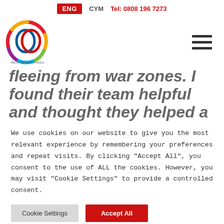ENG  CYM  Tel: 0808 196 7273
[Figure (logo): Welsh Refugee Council circular logo with colourful rings and text around the border]
fleeing from war zones. I found their team helpful and thought they helped a
We use cookies on our website to give you the most relevant experience by remembering your preferences and repeat visits. By clicking "Accept All", you consent to the use of ALL the cookies. However, you may visit "Cookie Settings" to provide a controlled consent.
Cookie Settings   Accept All